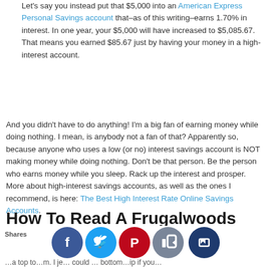Let's say you instead put that $5,000 into an American Express Personal Savings account that–as of this writing–earns 1.70% in interest. In one year, your $5,000 will have increased to $5,085.67. That means you earned $85.67 just by having your money in a high-interest account.
And you didn't have to do anything! I'm a big fan of earning money while doing nothing. I mean, is anybody not a fan of that? Apparently so, because anyone who uses a low (or no) interest savings account is NOT making money while doing nothing. Don't be that person. Be the person who earns money while you sleep. Rack up the interest and prosper. More about high-interest savings accounts, as well as the ones I recommend, is here: The Best High Interest Rate Online Savings Accounts.
How To Read A Frugalwoods Expense Report
…a top to…m. I je… could … bottom…ip if you…